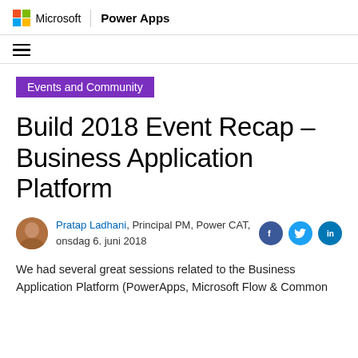Microsoft | Power Apps
Events and Community
Build 2018 Event Recap – Business Application Platform
Pratap Ladhani, Principal PM, Power CAT, onsdag 6. juni 2018
We had several great sessions related to the Business Application Platform (PowerApps, Microsoft Flow & Common